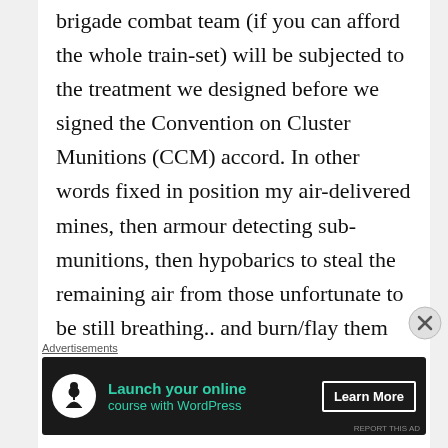brigade combat team (if you can afford the whole train-set) will be subjected to the treatment we designed before we signed the Convention on Cluster Munitions (CCM) accord. In other words fixed in position my air-delivered mines, then armour detecting sub-munitions, then hypobarics to steal the remaining air from those unfortunate to be still breathing.. and burn/flay them alive of course. It's happening now in East Ukraine kids. We should know that in the right conditions anything goes – are memories of Hiroshima and Nagasaki that thin? Bottom
[Figure (other): Close button (X in a circle) overlaid on the right side of the page]
Advertisements
[Figure (infographic): Advertisement banner: dark background with tree/person icon, text 'Launch your online course with WordPress', and 'Learn More' button]